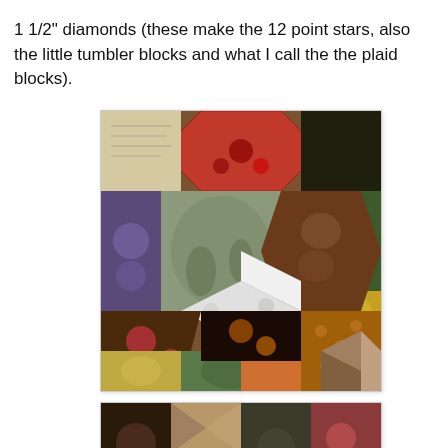1 1/2" diamonds (these make the 12 point stars, also the little tumbler blocks and what I call the the plaid blocks).
[Figure (photo): Close-up photograph of a colorful patchwork quilt with hexagon/diamond shaped fabric pieces in various patterns including florals, paisleys, plaids, and novelty prints in reds, browns, golds, greens, and black.]
[Figure (photo): Partial view of a second patchwork quilt with similar colorful diamond-shaped fabric pieces, partially visible at the bottom of the page.]